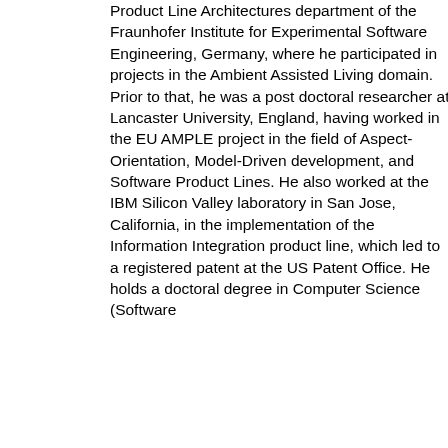Product Line Architectures department of the Fraunhofer Institute for Experimental Software Engineering, Germany, where he participated in projects in the Ambient Assisted Living domain. Prior to that, he was a post doctoral researcher at Lancaster University, England, having worked in the EU AMPLE project in the field of Aspect-Orientation, Model-Driven development, and Software Product Lines. He also worked at the IBM Silicon Valley laboratory in San Jose, California, in the implementation of the Information Integration product line, which led to a registered patent at the US Patent Office. He holds a doctoral degree in Computer Science (Software